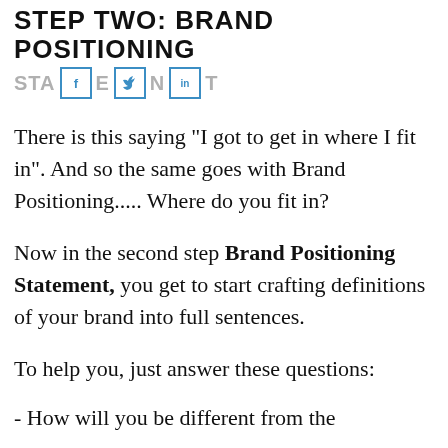STEP TWO: BRAND POSITIONING
STATEMENT [social share buttons: f, bird icon, in]
There is this saying "I got to get in where I fit in". And so the same goes with Brand Positioning..... Where do you fit in?
Now in the second step Brand Positioning Statement, you get to start crafting definitions of your brand into full sentences.
To help you, just answer these questions:
- How will you be different from the